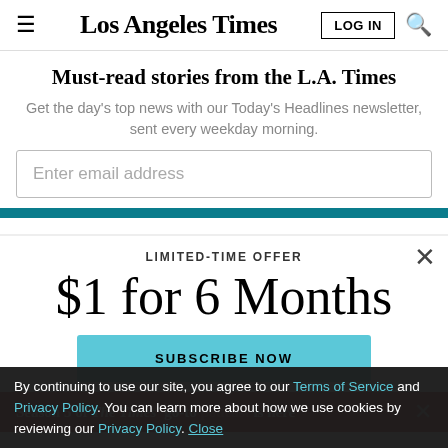Los Angeles Times
Must-read stories from the L.A. Times
Get the day's top news with our Today's Headlines newsletter, sent every weekday morning.
Enter email address
LIMITED-TIME OFFER
$1 for 6 Months
SUBSCRIBE NOW
By continuing to use our site, you agree to our Terms of Service and Privacy Policy. You can learn more about how we use cookies by reviewing our Privacy Policy. Close
Season 5 of The Times' go-to podcast is here